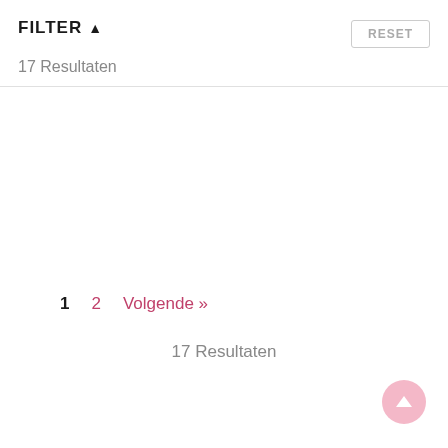FILTER ▲
17 Resultaten
1   2   Volgende »
17 Resultaten